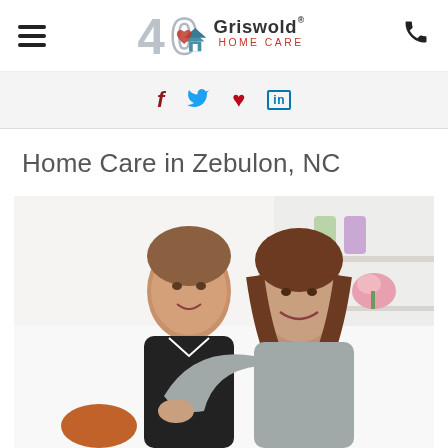[Figure (screenshot): Griswold Home Care 40th anniversary logo with stylized house and heart icon, navigation bar with hamburger menu and phone icon]
[Figure (infographic): Social media share icons: Facebook (f), Twitter (bird), Pinterest (p), LinkedIn (in) on gray banner]
Home Care in Zebulon, NC
[Figure (photo): Two women smiling and embracing — an elderly woman and a younger caregiver — sitting on a white sofa in a bright living room with shelves and pink flowers in background]